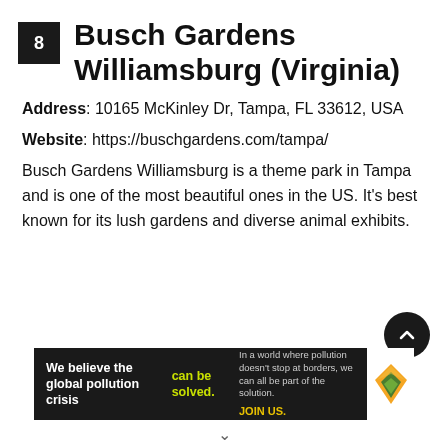8 Busch Gardens Williamsburg (Virginia)
Address: 10165 McKinley Dr, Tampa, FL 33612, USA
Website: https://buschgardens.com/tampa/
Busch Gardens Williamsburg is a theme park in Tampa and is one of the most beautiful ones in the US. It's best known for its lush gardens and diverse animal exhibits.
[Figure (infographic): Pure Earth advertisement banner: 'We believe the global pollution crisis can be solved.' with yellow-green accent text, and Pure Earth logo on white background.]